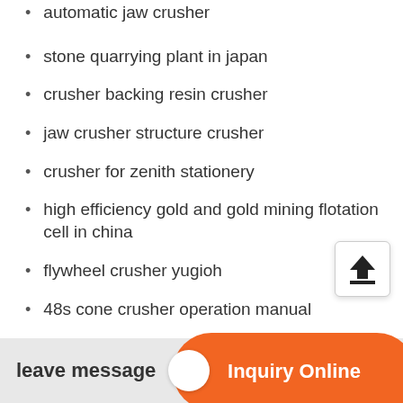automatic jaw crusher
stone quarrying plant in japan
crusher backing resin crusher
jaw crusher structure crusher
crusher for zenith stationery
high efficiency gold and gold mining flotation cell in china
flywheel crusher yugioh
48s cone crusher operation manual
social impacts of mining
leave message
Inquiry Online